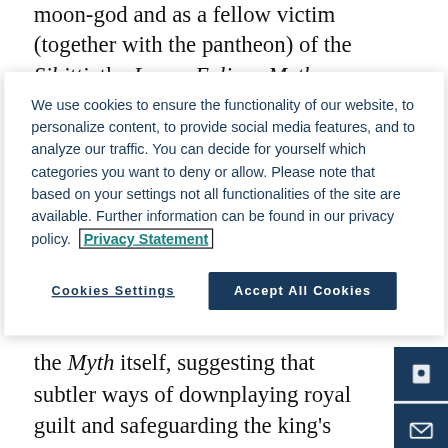moon-god and as a fellow victim (together with the pantheon) of the Sibitti, the Lunar Eclipse Myth
We use cookies to ensure the functionality of our website, to personalize content, to provide social media features, and to analyze our traffic. You can decide for yourself which categories you want to deny or allow. Please note that based on your settings not all functionalities of the site are available. Further information can be found in our privacy policy. Privacy Statement
Cookies Settings
Accept All Cookies
the Myth itself, suggesting that subtler ways of downplaying royal guilt and safeguarding the king's status may have been preferred.
Type:  Journal Article
In: Journal of Ancient Near Eastern Religions
ISSN:  1569-2116
Publication Date:  27 May 2014